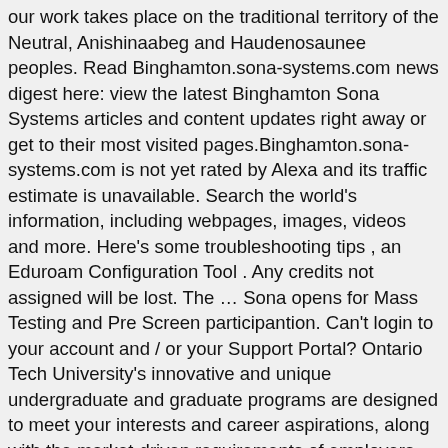our work takes place on the traditional territory of the Neutral, Anishinaabeg and Haudenosaunee peoples. Read Binghamton.sona-systems.com news digest here: view the latest Binghamton Sona Systems articles and content updates right away or get to their most visited pages.Binghamton.sona-systems.com is not yet rated by Alexa and its traffic estimate is unavailable. Search the world's information, including webpages, images, videos and more. Here's some troubleshooting tips , an Eduroam Configuration Tool . Any credits not assigned will be lost. The … Sona opens for Mass Testing and Pre Screen participantion. Can't login to your account and / or your Support Portal? Ontario Tech University's innovative and unique undergraduate and graduate programs are designed to meet your interests and career aspirations, along with the market-driven requirements of employers. You may decline to take the Mass Testing but we strongly encourage you to take the survey, If you decline you will still be eligible to participate in studies, however you might find that fewer are available. For example, I am taking PSYCH 207 and the course offers a 4% bonus. Classes resume for the